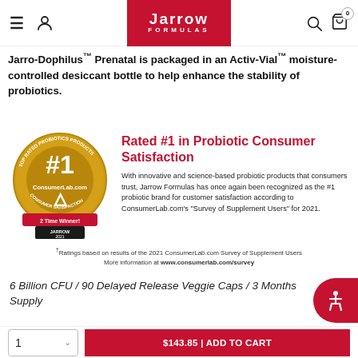Jarrow Formulas — navigation header with logo, hamburger menu, user icon, search, and cart
Jarro-Dophilus™ Prenatal is packaged in an Activ-Vial™ moisture-controlled desiccant bottle to help enhance the stability of probiotics.
[Figure (logo): Gold circular medal badge reading 'Top Rated Probiotics Products #1 ConsumerLab.com Consumer Satisfaction — 2 Time Winner Jarrow 2021']
Rated #1 in Probiotic Consumer Satisfaction
With innovative and science-based probiotic products that consumers trust, Jarrow Formulas has once again been recognized as the #1 probiotic brand for customer satisfaction according to ConsumerLab.com's "Survey of Supplement Users" for 2021.
†Ratings based on results of the 2021 ConsumerLab.com Survey of Supplement Users
More information at www.consumerlab.com/survey
6 Billion CFU / 90 Delayed Release Veggie Caps / 3 Months Supply